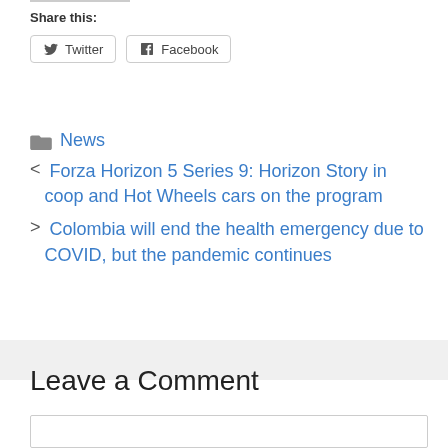Share this:
Twitter  Facebook
News
< Forza Horizon 5 Series 9: Horizon Story in coop and Hot Wheels cars on the program
> Colombia will end the health emergency due to COVID, but the pandemic continues
Leave a Comment